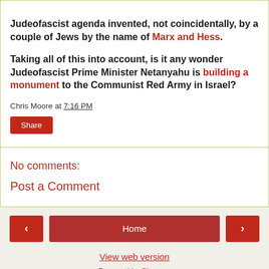Judeofascist agenda invented, not coincidentally, by a couple of Jews by the name of Marx and Hess.
Taking all of this into account, is it any wonder Judeofascist Prime Minister Netanyahu is building a monument to the Communist Red Army in Israel?
Chris Moore at 7:16 PM
Share
No comments:
Post a Comment
< Home > View web version Powered by Blogger.